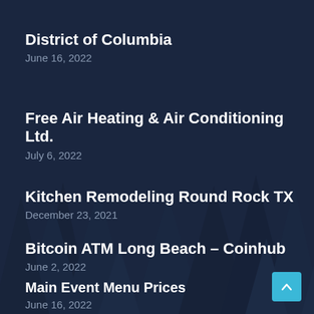District of Columbia
June 16, 2022
Free Air Heating & Air Conditioning Ltd.
July 6, 2022
Kitchen Remodeling Round Rock TX
December 23, 2021
Bitcoin ATM Long Beach – Coinhub
June 2, 2022
Main Event Menu Prices
June 16, 2022